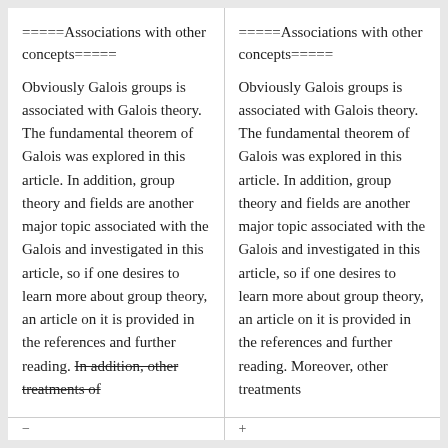=====Associations with other concepts=====
Obviously Galois groups is associated with Galois theory. The fundamental theorem of Galois was explored in this article. In addition, group theory and fields are another major topic associated with the Galois and investigated in this article, so if one desires to learn more about group theory, an article on it is provided in the references and further reading. In addition, other treatments of
=====Associations with other concepts=====
Obviously Galois groups is associated with Galois theory. The fundamental theorem of Galois was explored in this article. In addition, group theory and fields are another major topic associated with the Galois and investigated in this article, so if one desires to learn more about group theory, an article on it is provided in the references and further reading. Moreover, other treatments